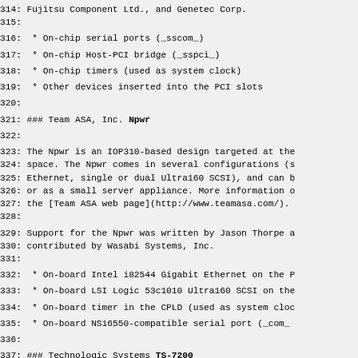314: Fujitsu Component Ltd., and Genetec Corp.
315:
316:  * On-chip serial ports (_sscom_)
317:  * On-chip Host-PCI bridge (_sspci_)
318:  * On-chip timers (used as system clock)
319:  * Other devices inserted into the PCI slots
320:
321: ### Team ASA, Inc. **Npwr**
322:
323: The Npwr is an IOP310-based design targeted at the
324: space. The Npwr comes in several configurations (s
325: Ethernet, single or dual Ultra160 SCSI), and can b
326: or as a small server appliance. More information o
327: the [Team ASA web page](http://www.teamasa.com/).
328:
329: Support for the Npwr was written by Jason Thorpe a
330: contributed by Wasabi Systems, Inc.
331:
332:  * On-board Intel i82544 Gigabit Ethernet on the P
333:  * On-board LSI Logic 53c1010 Ultra160 SCSI on the
334:  * On-board timer in the CPLD (used as system cloc
335:  * On-board NS16550-compatible serial port (_com_
336:
337: ### Technologic Systems **TS-7200**
338:
339: The TS-7200 is a low-cost mass-produced PC/104 emb
340: intended as a general purpose core for real embedd
341: uses the Cirrus Logic EP9302 ARM9 system-on-chip a
342: bus and can either boot to CompactFlash or onboard
343: general purpose digital IO and optional multichan